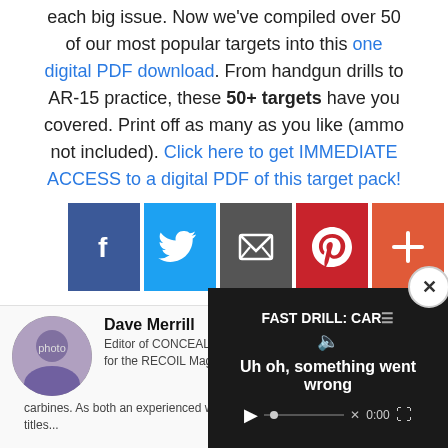each big issue. Now we've compiled over 50 of our most popular targets into this one digital PDF download. From handgun drills to AR-15 practice, these 50+ targets have you covered. Print off as many as you like (ammo not included). Click here to get IMMEDIATE ACCESS to a digital PDF of this target pack!
[Figure (infographic): Social share buttons: Facebook (blue), Twitter (light blue), Email/envelope (gray), Pinterest (red), Plus/more (orange-red)]
[Figure (photo): Circular author avatar photo of Dave Merrill]
Dave Merrill - Editor of CONCEALMENT... for the RECOIL Magaz... particular passion for f... carbines. As both an experienced wr... Dave's work across all RECOIL titles...
[Figure (screenshot): Video overlay showing 'FAST DRILL: CAR...' title with error message 'Uh oh, something went wrong' and video controls at 0:00]